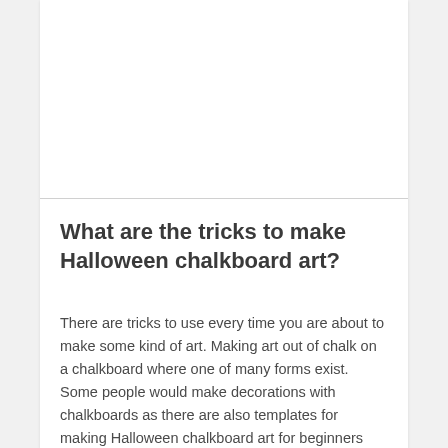What are the tricks to make Halloween chalkboard art?
There are tricks to use every time you are about to make some kind of art. Making art out of chalk on a chalkboard where one of many forms exist. Some people would make decorations with chalkboards as there are also templates for making Halloween chalkboard art for beginners too. Halloween chalkboard art can be a decoration and apparently if you don't mind, you can change it every seasonal chalkboard art too. If it is your first time to make Halloween chalkboard art, please use wet chalks first. You probably don't want to ruin the ghost character. However, be bold! It is an important trick